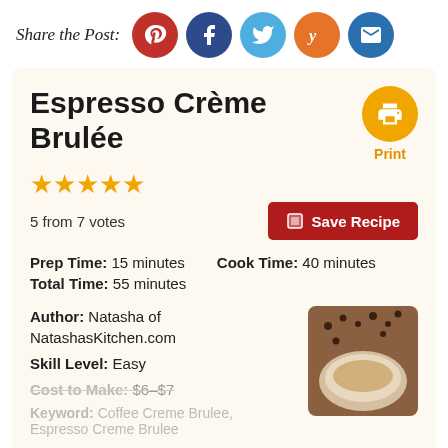Share the Post:
Espresso Crème Brulée
5 from 7 votes
Prep Time: 15 minutes  Cook Time: 40 minutes  Total Time: 55 minutes
Author: Natasha of NatashasKitchen.com
Skill Level: Easy
Cost to Make: $6–$7
Keyword: Coffee Creme Brulee, Espresso Creme Brulee